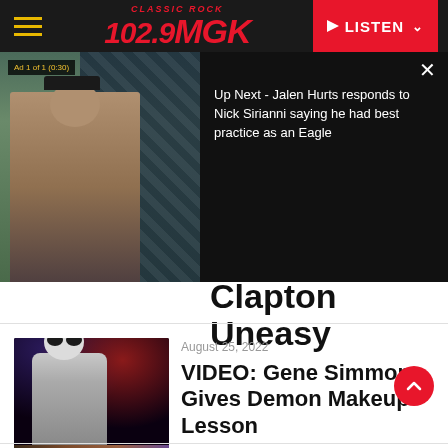102.9 MGK Classic Rock - LISTEN
[Figure (screenshot): Video ad overlay showing person at press conference with 'Ad 1 of 1 (0:30)' badge, and 'Up Next - Jalen Hurts responds to Nick Sirianni saying he had best practice as an Eagle' text on right side with close button]
Clapton Uneasy
August 25, 2022
[Figure (photo): Gene Simmons in KISS demon makeup and costume performing on stage with guitar]
VIDEO: Gene Simmons Gives Demon Makeup Lesson
August 22, 2022